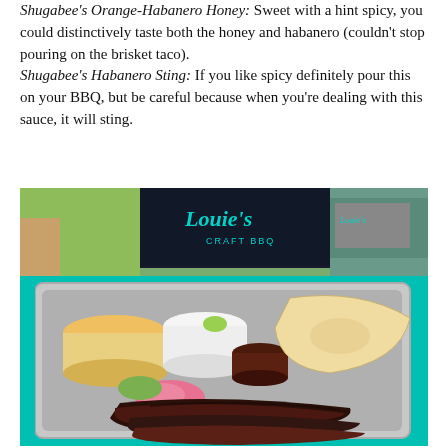Shugabee's Orange-Habanero Honey: Sweet with a hint spicy, you could distinctively taste both the honey and habanero (couldn't stop pouring on the brisket taco). Shugabee's Habanero Sting: If you like spicy definitely pour this on your BBQ, but be careful because when you're dealing with this sauce, it will sting.
[Figure (photo): A BBQ meal served on a metal tray on a teal/turquoise table. The tray contains sliced brisket, a tortilla, pink pickled onions, pickles, a small sauce cup, a cup of mac and cheese, and a cup with a lime garnish. In the background is a sign reading 'Louie's Craft BBQ'.]